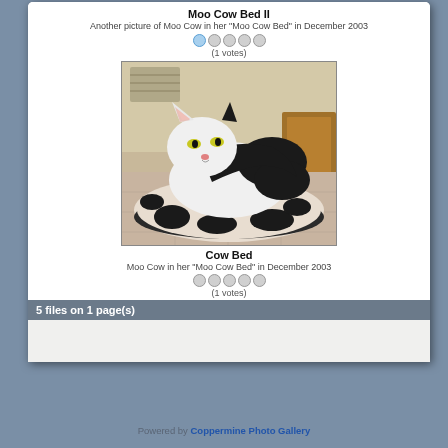Moo Cow Bed II
Another picture of Moo Cow in her "Moo Cow Bed" in December 2003
(1 votes)
[Figure (photo): A black and white cat sitting in a cow-print pet bed]
Cow Bed
Moo Cow in her "Moo Cow Bed" in December 2003
(1 votes)
5 files on 1 page(s)
Powered by Coppermine Photo Gallery